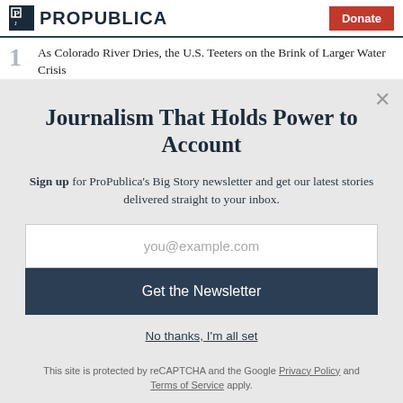ProPublica | Donate
1 As Colorado River Dries, the U.S. Teeters on the Brink of Larger Water Crisis
Journalism That Holds Power to Account
Sign up for ProPublica's Big Story newsletter and get our latest stories delivered straight to your inbox.
you@example.com
Get the Newsletter
No thanks, I'm all set
This site is protected by reCAPTCHA and the Google Privacy Policy and Terms of Service apply.